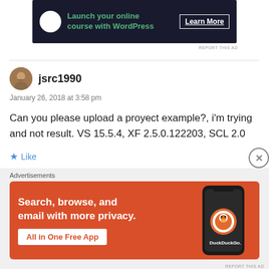[Figure (screenshot): Dark banner advertisement: icon with tree/upload symbol, text 'Launch your online course with WordPress', 'Learn More' button]
REPORT THIS AD
jsrc1990
January 26, 2018 at 3:58 pm
Can you please upload a proyect example?, i'm trying and not result. VS 15.5.4, XF 2.5.0.122203, SCL 2.0
★ Like
REPLY
Advertisements
[Figure (screenshot): DuckDuckGo orange advertisement banner: 'Search, browse, and email with more privacy. All in One Free App' with phone mockup showing DuckDuckGo logo]